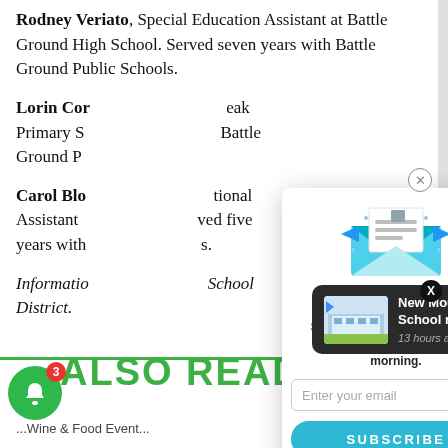Rodney Veriato, Special Education Assistant at Battle Ground High School. Served seven years with Battle Ground Public Schools.
Lorin Cor... eak Primary S... Battle Ground P...
Carol Blo... tional Assistant ... ved five years with ... s.
Informatio... School District.
[Figure (infographic): Newsletter popup overlay with envelope icon, title 'Newsletter', subtitle 'Stay up to date with our latest news sent out every Friday morning.', email input field, and SUBSCRIBE button in cyan/blue color.]
[Figure (infographic): Dark notification popup showing a building photo with text 'New Mountain View High School ready to welcome' and timestamp '13 hours ago']
ALSO READ:
...Wine & Food Event...